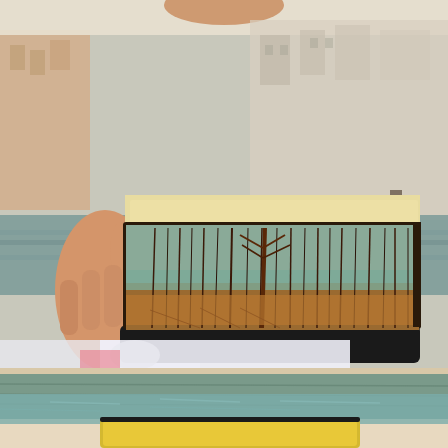[Figure (photo): A person holds open a sketchbook/Moleskine notebook showing a detailed colored pencil or pen drawing of a winter forest scene with bare trees reflected in water, with warm autumn tones. Behind the notebook, the blurred background shows the Venice Grand Canal with historic buildings and water visible. The notebook itself shows pages with cream/yellow-tinted paper and a black cover.]
[Figure (photo): Bottom portion showing a Venice canal scene — the foreground is a painted or weathered green/teal wooden surface (likely a dock or boat), with the canal water and a yellow Moleskine notebook spine/edge visible at the very bottom. The water is choppy with small waves.]